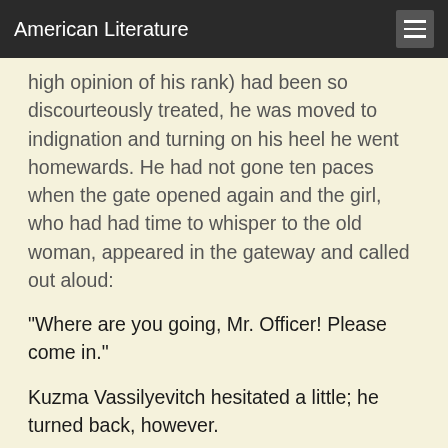American Literature
high opinion of his rank) had been so discourteously treated, he was moved to indignation and turning on his heel he went homewards. He had not gone ten paces when the gate opened again and the girl, who had had time to whisper to the old woman, appeared in the gateway and called out aloud:
"Where are you going, Mr. Officer! Please come in."
Kuzma Vassilyevitch hesitated a little; he turned back, however.
VII
This new acquaintance, whom we will call Emilie, led him through a dark, damp little lobby into a fairly